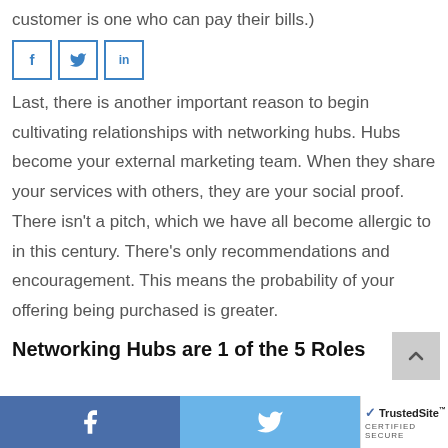customer is one who can pay their bills.)
[Figure (other): Social share buttons: Facebook (f), Twitter (bird icon), LinkedIn (in)]
Last, there is another important reason to begin cultivating relationships with networking hubs. Hubs become your external marketing team. When they share your services with others, they are your social proof. There isn't a pitch, which we have all become allergic to in this century. There's only recommendations and encouragement. This means the probability of your offering being purchased is greater.
Networking Hubs are 1 of the 5 Roles
Facebook share | Twitter share | TrustedSite CERTIFIED SECURE